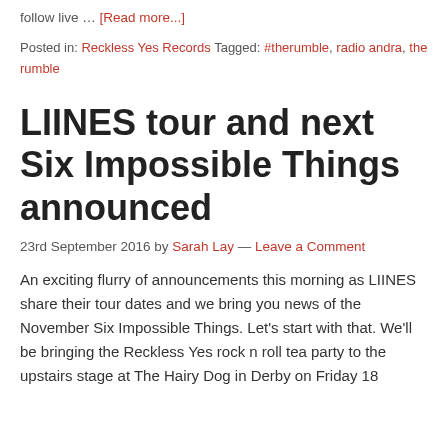follow live … [Read more...]
Posted in: Reckless Yes Records Tagged: #therumble, radio andra, the rumble
LIINES tour and next Six Impossible Things announced
23rd September 2016 by Sarah Lay — Leave a Comment
An exciting flurry of announcements this morning as LIINES share their tour dates and we bring you news of the November Six Impossible Things. Let's start with that. We'll be bringing the Reckless Yes rock n roll tea party to the upstairs stage at The Hairy Dog in Derby on Friday 18